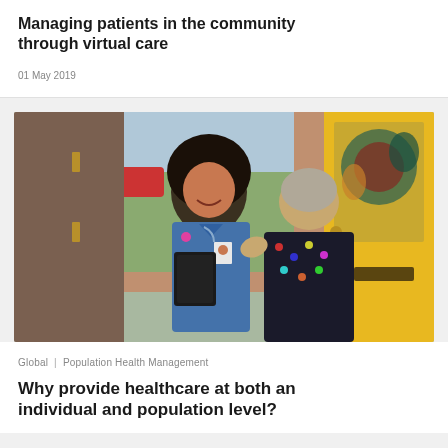Managing patients in the community through virtual care
01 May 2019
[Figure (photo): A smiling nurse in blue scrubs holding a binder greets an elderly woman at her front door with a yellow door frame and stained glass window]
Global | Population Health Management
Why provide healthcare at both an individual and population level?